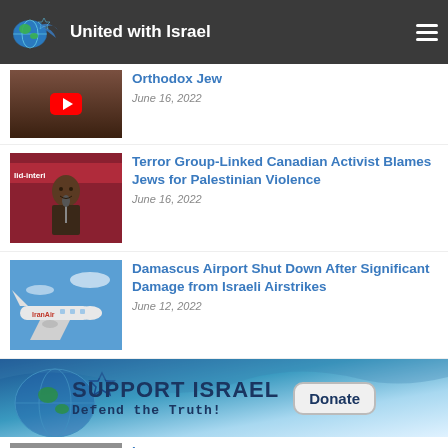United with Israel
[Figure (screenshot): Partial article thumbnail with video play button, dark background]
Orthodox Jew
June 16, 2022
[Figure (photo): Man speaking at a microphone in front of red banner]
Terror Group-Linked Canadian Activist Blames Jews for Palestinian Violence
June 16, 2022
[Figure (photo): IranAir plane flying against blue sky]
Damascus Airport Shut Down After Significant Damage from Israeli Airstrikes
June 12, 2022
[Figure (infographic): Support Israel - Defend the Truth banner with globe and Star of David, Donate button]
[Figure (photo): Partial bottom article thumbnail, gray]
Partial article title at bottom (cut off)